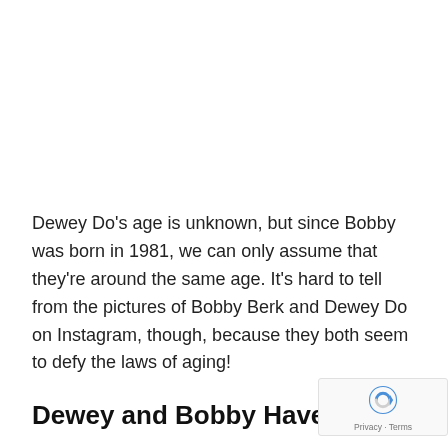Dewey Do's age is unknown, but since Bobby was born in 1981, we can only assume that they're around the same age. It's hard to tell from the pictures of Bobby Berk and Dewey Do on Instagram, though, because they both seem to defy the laws of aging!
Dewey and Bobby Have Been